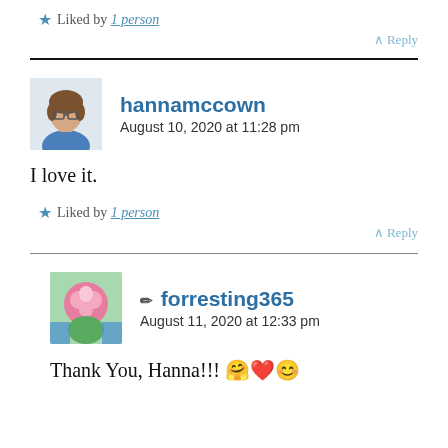★ Liked by 1 person
^ Reply
hannamccown
August 10, 2020 at 11:28 pm
I love it.
★ Liked by 1 person
^ Reply
✏ forresting365
August 11, 2020 at 12:33 pm
Thank You, Hanna!!! 🤗❤️😊